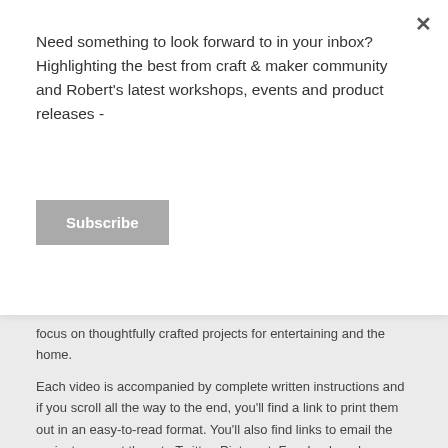Need something to look forward to in your inbox? Highlighting the best from craft & maker community and Robert's latest workshops, events and product releases -
Subscribe
focus on thoughtfully crafted projects for entertaining and the home.
Each video is accompanied by complete written instructions and if you scroll all the way to the end, you'll find a link to print them out in an easy-to-read format. You'll also find links to email the projects or post them to Twitter, Pinterest, Facebook and Google+.
SUBSCRIBE to Robert's YouTube channel:
http://bit.ly/CraftedWithRobertMahar
Start exploring the videos by topic or search by keyword in the fields below.